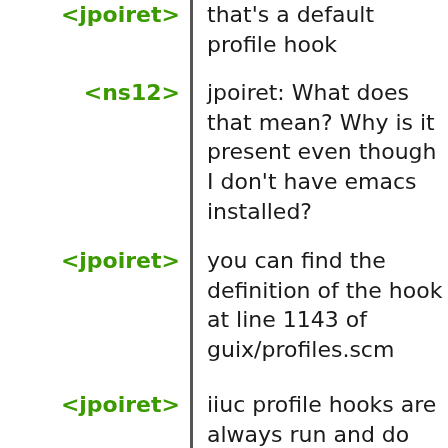<jpoiret> that's a default profile hook
<ns12> jpoiret: What does that mean? Why is it present even though I don't have emacs installed?
<jpoiret> you can find the definition of the hook at line 1143 of guix/profiles.scm
<jpoiret> iiuc profile hooks are always run and do not depend on a package being present
<jpoiret> maybe they could be run conditionally, but